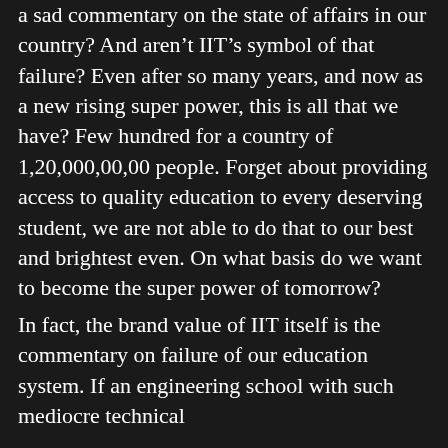a sad commentary on the state of affairs in our country? And aren't IIT's symbol of that failure? Even after so many years, and now as a new rising super power, this is all that we have? Few hundred for a country of 1,20,000,00,00 people. Forget about providing access to quality education to every deserving student, we are not able to do that to our best and brightest even. On what basis do we want to become the super power of tomorrow?
In fact, the brand value of IIT itself is the commentary on failure of our education system. If an engineering school with such mediocre technical